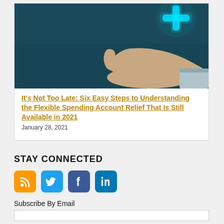[Figure (photo): A hand holding up a glowing blue medical cross/plus symbol on a dark teal background, suggesting healthcare or medical insurance.]
It’s Not Too Late: Six Easy Steps to Understanding the Flexible Spending Account Relief That Is Still Available in 2021
January 28, 2021
STAY CONNECTED
[Figure (infographic): Social media icons: RSS (orange), Twitter (light blue), Facebook (dark blue), LinkedIn (blue)]
Subscribe By Email